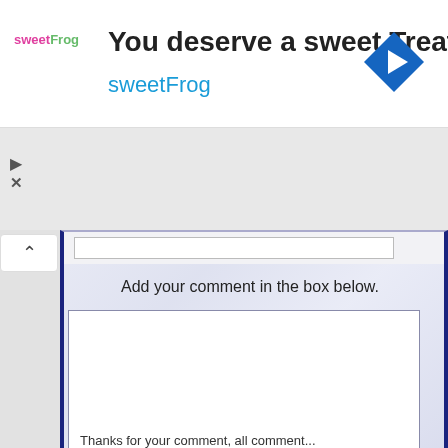[Figure (screenshot): Advertisement banner for sweetFrog frozen yogurt. Shows sweetFrog logo on left, text 'You deserve a sweet Treat' in bold, 'sweetFrog' in cyan below, and a blue diamond navigation icon on the right.]
Add your comment in the box below.
Thanks for your comment, all comments...